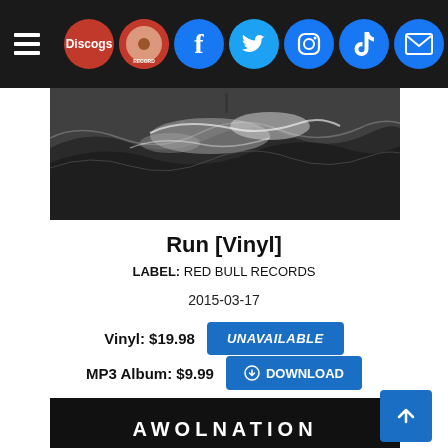[Figure (screenshot): Website navigation bar with hamburger menu, Discogs logo, record label logo, Facebook, Twitter, Instagram, TikTok, and email icons on dark background]
[Figure (photo): Black and white photo of ocean waves, used as album cover art for Run [Vinyl]]
Run [Vinyl]
LABEL: RED BULL RECORDS
2015-03-17
Vinyl: $19.98  UNAVAILABLE
MP3 Album: $9.99  DOWNLOAD
[Figure (photo): Bottom portion of dark album cover with AWOLNATION text and back-to-top button]